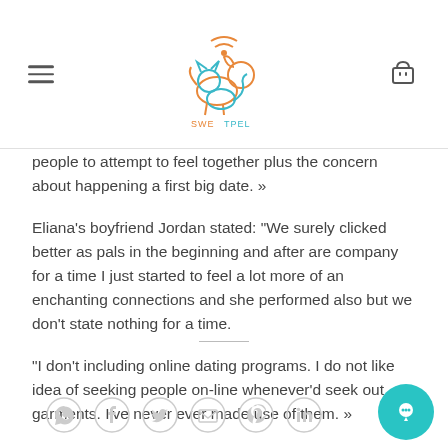SWEETPEL logo with hamburger menu and cart icon
people to attempt to feel together plus the concern about happening a first big date. »
Eliana's boyfriend Jordan stated: “We surely clicked better as pals in the beginning and after are company for a time I just started to feel a lot more of an enchanting connections and she performed also but we don't state nothing for a time.
“I don't including online dating programs. I do not like idea of seeking people on-line whenever'd seek out garments. I've never ever made use of them. »
[Figure (other): Social sharing icons row: WhatsApp, Facebook, Twitter, Email, Pinterest, LinkedIn circles, plus teal chat bubble button]